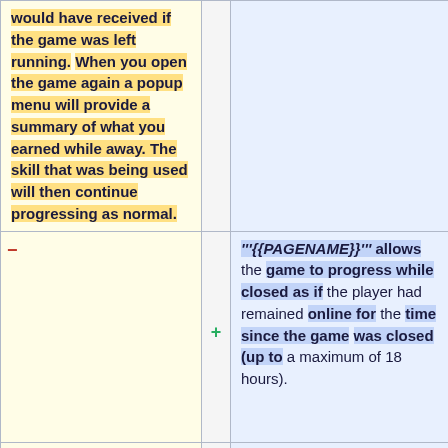would have received if the game was left running. When you open the game again a popup menu will provide a summary of what you earned while away. The skill that was being used will then continue progressing as normal.
–
+
'''{{PAGENAME}}''' allows the game to progress while closed as if the player had remained online for the time since the game was closed (up to a maximum of 18 hours).
=== Important Information ===